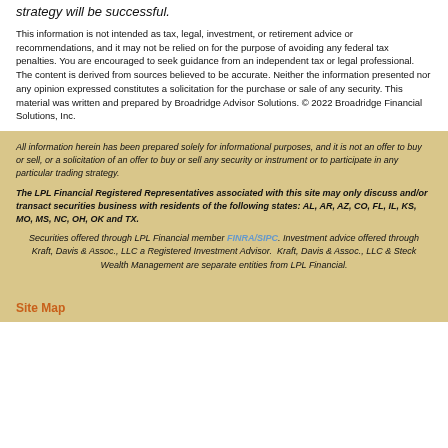strategy will be successful.
This information is not intended as tax, legal, investment, or retirement advice or recommendations, and it may not be relied on for the purpose of avoiding any federal tax penalties. You are encouraged to seek guidance from an independent tax or legal professional. The content is derived from sources believed to be accurate. Neither the information presented nor any opinion expressed constitutes a solicitation for the purchase or sale of any security. This material was written and prepared by Broadridge Advisor Solutions. © 2022 Broadridge Financial Solutions, Inc.
All information herein has been prepared solely for informational purposes, and it is not an offer to buy or sell, or a solicitation of an offer to buy or sell any security or instrument or to participate in any particular trading strategy.
The LPL Financial Registered Representatives associated with this site may only discuss and/or transact securities business with residents of the following states: AL, AR, AZ, CO, FL, IL, KS, MO, MS, NC, OH, OK and TX.
Securities offered through LPL Financial member FINRA/SIPC. Investment advice offered through Kraft, Davis & Assoc., LLC a Registered Investment Advisor.  Kraft, Davis & Assoc., LLC & Steck Wealth Management are separate entities from LPL Financial.
Site Map